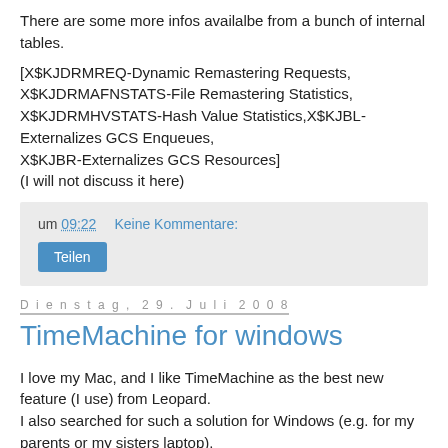There are some more infos availalbe from a bunch of internal tables.
[X$KJDRMREQ-Dynamic Remastering Requests, X$KJDRMAFNSTATS-File Remastering Statistics, X$KJDRMHVSTATS-Hash Value Statistics,X$KJBL-Externalizes GCS Enqueues, X$KJBR-Externalizes GCS Resources]
(I will not discuss it here)
um 09:22   Keine Kommentare:
Teilen
Dienstag, 29. Juli 2008
TimeMachine for windows
I love my Mac, and I like TimeMachine as the best new feature (I use) from Leopard.
I also searched for such a solution for Windows (e.g. for my parents or my sisters laptop).